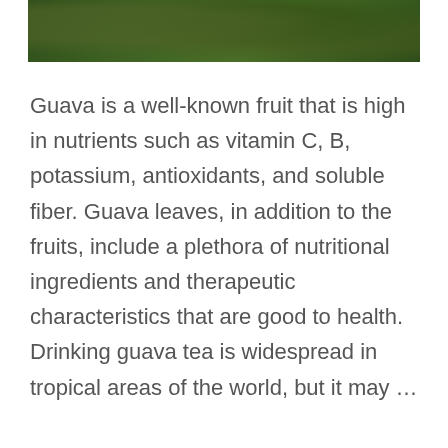[Figure (photo): Top portion of a photo showing green guava leaves and fruit against a dark green background.]
Guava is a well-known fruit that is high in nutrients such as vitamin C, B, potassium, antioxidants, and soluble fiber. Guava leaves, in addition to the fruits, include a plethora of nutritional ingredients and therapeutic characteristics that are good to health. Drinking guava tea is widespread in tropical areas of the world, but it may …